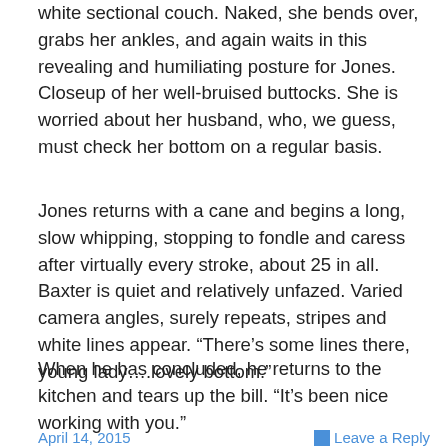white sectional couch. Naked, she bends over, grabs her ankles, and again waits in this revealing and humiliating posture for Jones. Closeup of her well-bruised buttocks. She is worried about her husband, who, we guess, must check her bottom on a regular basis.
Jones returns with a cane and begins a long, slow whipping, stopping to fondle and caress after virtually every stroke, about 25 in all. Baxter is quiet and relatively unfazed. Varied camera angles, surely repeats, stripes and white lines appear. “There’s some lines there, young lady….lovely bottom.”
When he has concluded, he returns to the kitchen and tears up the bill. “It’s been nice working with you.”
April 14, 2015     Leave a Reply